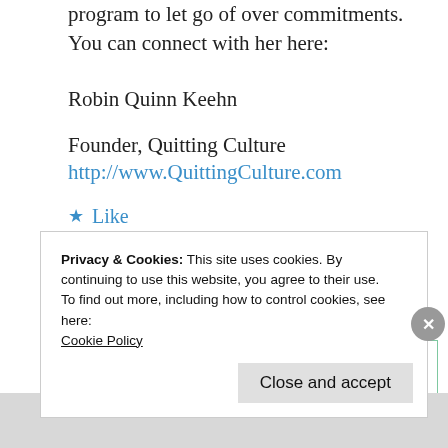program to let go of over commitments. You can connect with her here:
Robin Quinn Keehn
Founder, Quitting Culture
http://www.QuittingCulture.com
★ Like
↪ Reply
Privacy & Cookies: This site uses cookies. By continuing to use this website, you agree to their use.
To find out more, including how to control cookies, see here:
Cookie Policy
Close and accept